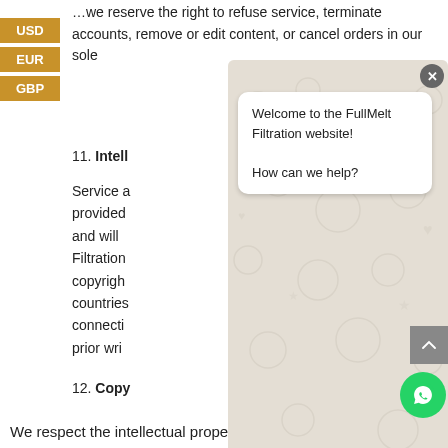We reserve the right to refuse service, terminate accounts, remove or edit content, or cancel orders in our sole
11. Intellectual Property
Service and its original content, features and functionality are and will remain the exclusive property of FullMelt Filtration and its licensors. The Service is protected by copyright, trademark, and other laws of both the countries. Our trademarks and trade dress may not be used in connection with any product or service without the prior written consent of FullMelt Filtration.
12. Copyright Policy
We respect the intellectual property rights of others. It is our policy to respond to any claim that Content posted on Service infringes on the copyright or other intellectual property rights ("Infringement") of any
[Figure (screenshot): WhatsApp chat widget overlay showing 'Welcome to the FullMelt Filtration website! How can we help?' message bubble with chat input area, send button, scroll-to-top button, and WhatsApp icon button]